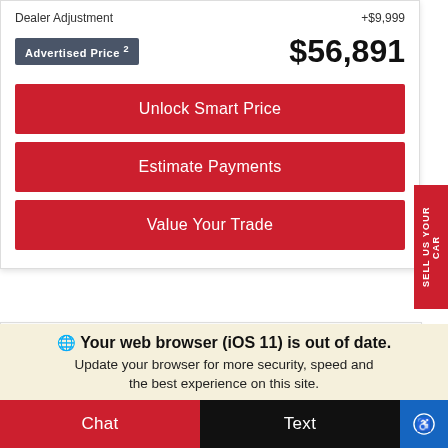Dealer Adjustment +$9,999
Advertised Price 2  $56,891
Unlock Smart Price
Estimate Payments
Value Your Trade
SELL US YOUR CAR
Your web browser (iOS 11) is out of date. Update your browser for more security, speed and the best experience on this site.
Chat
Text